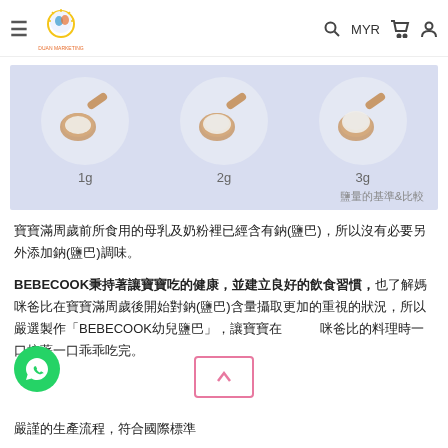DUAN MARKETING — MYR store navigation
[Figure (illustration): Three wooden spoons in circular frames on a light blue background, labeled 1g, 2g, 3g from left to right, with caption 鹽量的基準&比較]
鹽量的基準&比較
寶寶滿周歲前所食用的母乳及奶粉裡已經含有鈉(鹽巴)，所以沒有必要另外添加鈉(鹽巴)調味。
BEBECOOK秉持著讓寶寶吃的健康，並建立良好的飲食習慣，也了解媽咪爸比在寶寶滿周歲後開始對鈉(鹽巴)含量攝取更加的重視的狀況，所以嚴選製作「BEBECOOK幼兒鹽巴」，讓寶寶在咪爸比的料理時一口接著一口乖乖吃完。
嚴謹的生產流程，符合國際標準